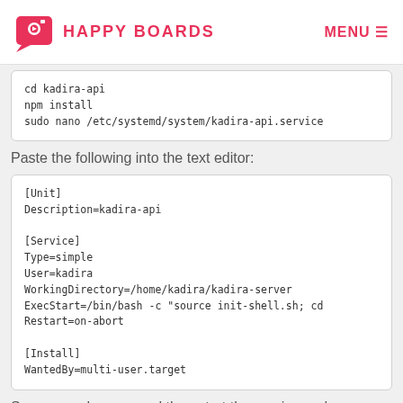HAPPY BOARDS | MENU
cd kadira-api
npm install
sudo nano /etc/systemd/system/kadira-api.service
Paste the following into the text editor:
[Unit]
Description=kadira-api

[Service]
Type=simple
User=kadira
WorkingDirectory=/home/kadira/kadira-server
ExecStart=/bin/bash -c "source init-shell.sh; cd
Restart=on-abort

[Install]
WantedBy=multi-user.target
Save your changes and then start the service and